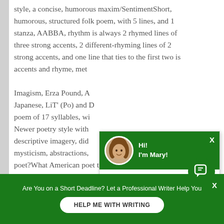style, a concise, humorous maxim/SentimentShort, humorous, structured folk poem, with 5 lines, and 1 stanza, AABBA, rhythm is always 2 rhymed lines of three strong accents, 2 different-rhyming lines of 2 strong accents, and one line that ties to the first two is accents and rhyme, met...
Imagism, Erza Pound, A... Japanese, LiT' (Po) and D... poem of 17 syllables, wi... Newer poetry style with descriptive imagery, did mysticism, abstractions, poet?What American poet took up cause?What traditions were also being mixed into popular
[Figure (other): Chat popup widget with green header showing avatar photo of a woman with curly hair, greeting 'Hi! I'm Mary!', close X button, and chat message body saying 'Hi there, would you like to get such a paper? How about receiving a customized one?' with bold link 'Click to learn more']
[Figure (other): Green circular chat icon button with speech bubble icon]
Are You on a Short Deadline? Let a Professional Writer Help You
HELP ME WITH WRITING